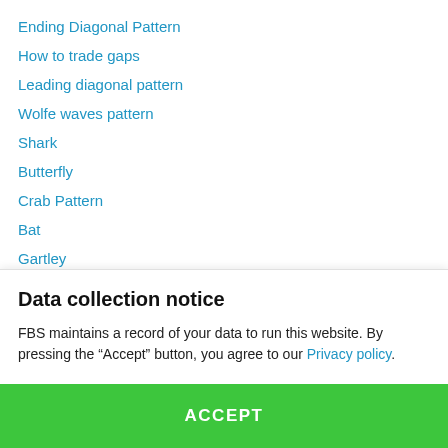Ending Diagonal Pattern
How to trade gaps
Leading diagonal pattern
Wolfe waves pattern
Shark
Butterfly
Crab Pattern
Bat
Gartley
ABCD Pattern
Data collection notice
FBS maintains a record of your data to run this website. By pressing the “Accept” button, you agree to our Privacy policy.
ACCEPT